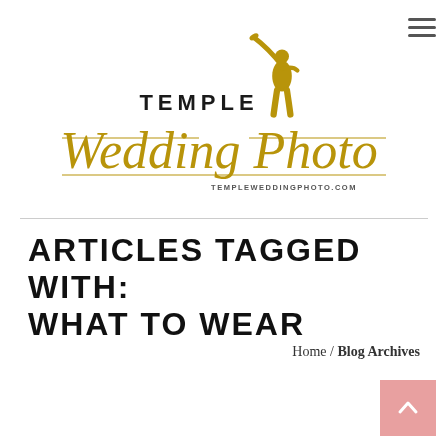[Figure (logo): Temple Wedding Photo logo with golden angel Moroni figure blowing trumpet, script text 'Wedding Photo' in gold, 'TEMPLE' in bold caps above, and 'TEMPLEWEDDINGPHOTO.COM' below with decorative lines]
ARTICLES TAGGED WITH: WHAT TO WEAR
Home / Blog Archives